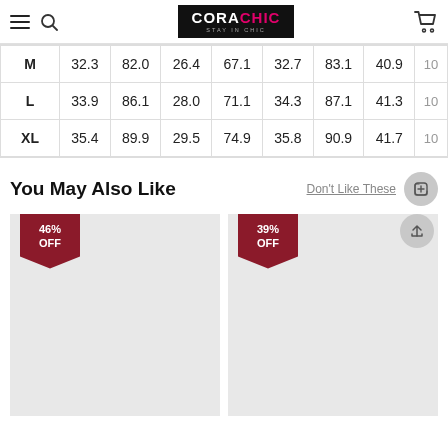CORACHIC — Stay in Chic
| Size | Col2 | Col3 | Col4 | Col5 | Col6 | Col7 | Col8 | Col9 |
| --- | --- | --- | --- | --- | --- | --- | --- | --- |
| M | 32.3 | 82.0 | 26.4 | 67.1 | 32.7 | 83.1 | 40.9 | 10... |
| L | 33.9 | 86.1 | 28.0 | 71.1 | 34.3 | 87.1 | 41.3 | 10... |
| XL | 35.4 | 89.9 | 29.5 | 74.9 | 35.8 | 90.9 | 41.7 | 10... |
You May Also Like
Don't Like These
[Figure (photo): Product image with 46% OFF badge]
[Figure (photo): Product image with 39% OFF badge]